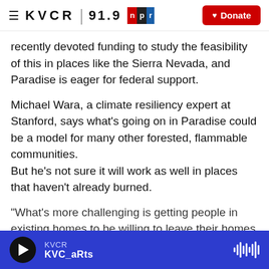≡ KVCR 91.9 npr [Donate]
recently devoted funding to study the feasibility of this in places like the Sierra Nevada, and Paradise is eager for federal support.
Michael Wara, a climate resiliency expert at Stanford, says what's going on in Paradise could be a model for many other forested, flammable communities.
But he's not sure it will work as well in places that haven't already burned.
"What's more challenging is getting people in existing homes to be willing to leave their homes and their communities so that these homes can be
▶ KVCR  KVC_aRts